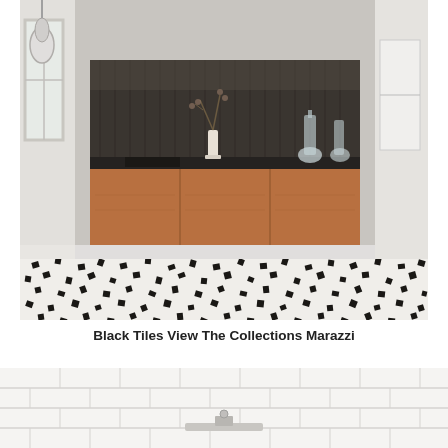[Figure (photo): Interior kitchen scene with black and white patterned mosaic tile floor, wooden cabinet base, dark metallic backsplash, glass pendant light on left, and white paneled walls. Items on counter include a vase with branches, glass decanters.]
Black Tiles View The Collections Marazzi
[Figure (photo): Partial view of a room with white subway tile walls, white floor tiles, and a sink or bathroom fixture partially visible at the bottom center.]